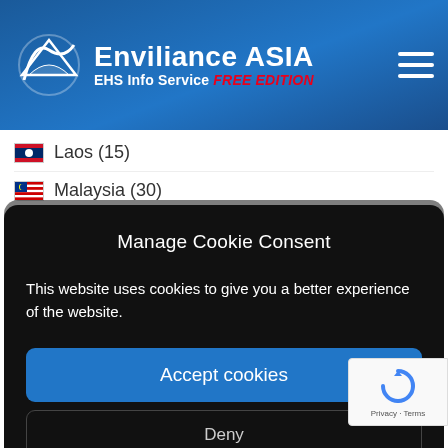Enviliance ASIA — EHS Info Service FREE EDITION
Laos (15)
Malaysia (30)
Manage Cookie Consent
This website uses cookies to give you a better experience of the website.
Accept cookies
Deny
India (150)
Pakistan (7)
Sri Lanka (6)